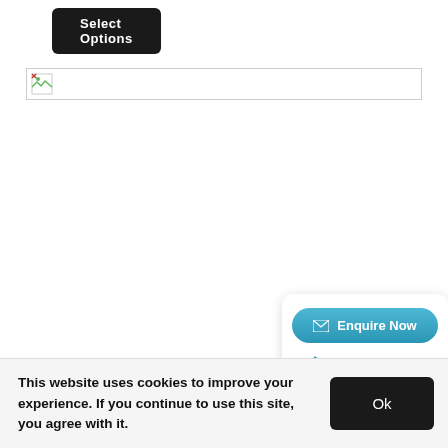[Figure (screenshot): A dark button labeled 'Select Options' with white bold text and rounded corners]
[Figure (screenshot): A broken image placeholder box with a small broken image icon on the left and a long empty white area bordered in light grey]
[Figure (screenshot): A contact card with a teal 'Enquire Now' button with envelope icon, and a phone number '01248 665666' in teal with a phone icon]
This website uses cookies to improve your experience. If you continue to use this site, you agree with it.